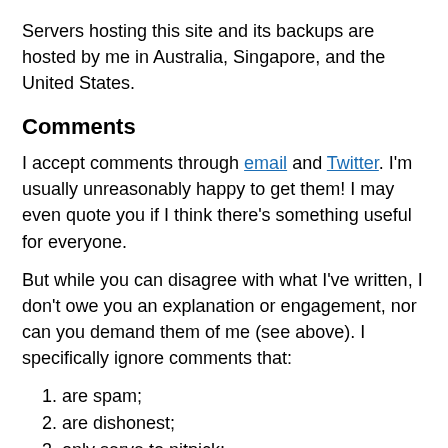Servers hosting this site and its backups are hosted by me in Australia, Singapore, and the United States.
Comments
I accept comments through email and Twitter. I'm usually unreasonably happy to get them! I may even quote you if I think there's something useful for everyone.
But while you can disagree with what I've written, I don't owe you an explanation or engagement, nor can you demand them of me (see above). I specifically ignore comments that:
are spam;
are dishonest;
only serve to nitpick;
are written in bad faith;
engage in character attacks;